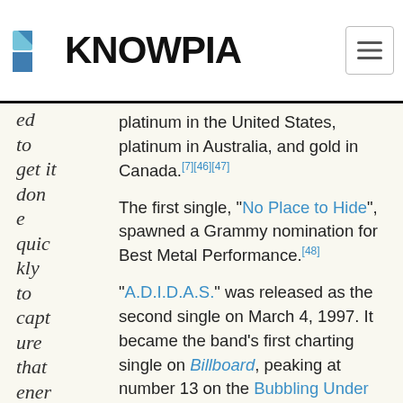KNOWPIA
ed to get it done quickly to capture that energy. So it
platinum in the United States, platinum in Australia, and gold in Canada.[7][46][47]

The first single, "No Place to Hide", spawned a Grammy nomination for Best Metal Performance.[48] "A.D.I.D.A.S." was released as the second single on March 4, 1997. It became the band's first charting single on Billboard, peaking at number 13 on the Bubbling Under Hot 100 chart.[49] The third sin "Good God", was released on July 14, 1997.[50] A promotional disc was